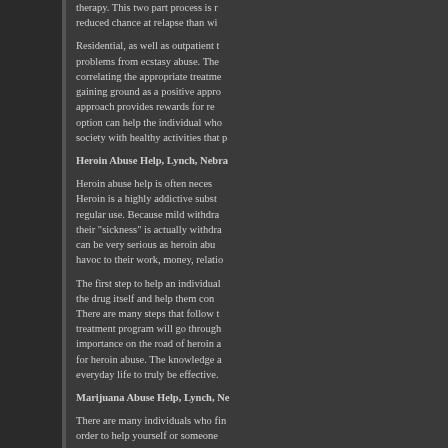therapy. This two part process is r... reduced chance at relapse than wi...
Residential, as well as outpatient t... problems from ecstasy abuse. The... correlating the appropriate treatme... gaining ground as a positive appro... approach provides rewards for re... option can help the individual who... society with healthy activities that p...
Heroin Abuse Help, Lynch, Nebra...
Heroin abuse help is often neces... Heroin is a highly addictive subst... regular use. Because mild withdra... their "sickness" is actually withdra... can be very serious as heroin abu... havoc to their work, money, relatio...
The first step to help an individual ... the drug itself and help them con... There are many steps that follow t... treatment program will go through... importance on the road of heroin a... for heroin abuse. The knowledge a... everyday life to truly be effective.
Marijuana Abuse Help, Lynch, Ne...
There are many individuals who fin... order to help yourself or someone... using marijuana is understood. Th... often helpful to identify the reaso... providing ideas of how to achieve ... example, some people abuse mar... relaxing without smoking marijua... enhance conversation and social ... years of smoking, the quality of rel...